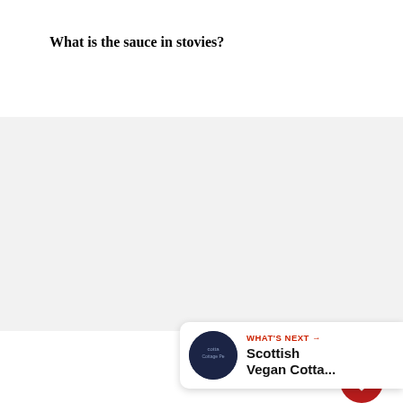What is the sauce in stovies?
[Figure (screenshot): Gray content area placeholder with social action buttons (heart/like button in red, count showing 47, share button) on the right side, and a 'What's Next' card at the bottom right showing 'Scottish Vegan Cotta...']